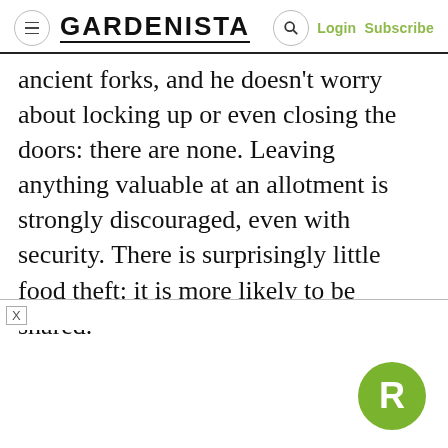GARDENISTA | Login Subscribe
ancient forks, and he doesn't worry about locking up or even closing the doors: there are none. Leaving anything valuable at an allotment is strongly discouraged, even with security. There is surprisingly little food theft: it is more likely to be shared.
[Figure (other): Advertisement bar with X close button and Rakuten R badge logo]